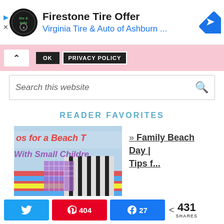[Figure (screenshot): Ad banner for Firestone Tire Offer by Virginia Tire & Auto of Ashburn with logo and navigation icon]
[Figure (screenshot): Cookie/privacy policy bar with OK and PRIVACY POLICY buttons on pink background]
Search this website
READER FAVORITES
[Figure (photo): Beach trip packing image showing colorful striped beach bags and supplies with text 'os for a Beach T With Small Children']
» Family Beach Day | Tips f...
[Figure (screenshot): Social share bar with Twitter, Pinterest (404), Facebook (27) buttons and total 431 SHARES]